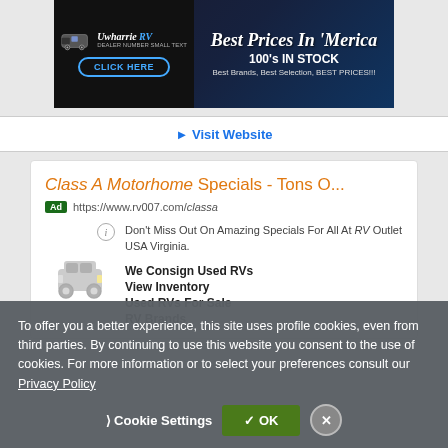[Figure (photo): Uwharrie RV banner advertisement: Best Prices In Merica, 100's IN STOCK, Best Brands, Best Selection, BEST PRICES!!!, CLICK HERE button]
▶ Visit Website
Class A Motorhome Specials - Tons O...
Ad https://www.rv007.com/classa
Don't Miss Out On Amazing Specials For All At RV Outlet USA Virginia.
We Consign Used RVs
View Inventory
Used RVs For Sale
RV Brands
To offer you a better experience, this site uses profile cookies, even from third parties. By continuing to use this website you consent to the use of cookies. For more information or to select your preferences consult our Privacy Policy
Cookie Settings   ✓ OK   ✕